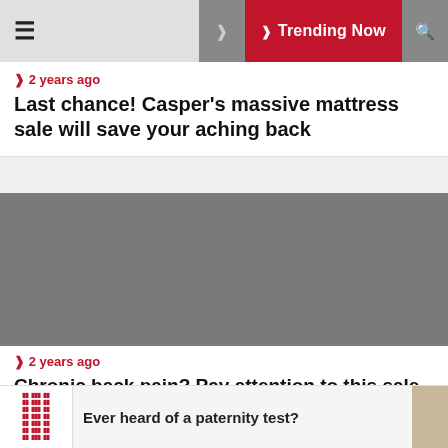≡  ❯ Trending Now  🔍
❯ 2 years ago
Last chance! Casper's massive mattress sale will save your aching back
[Figure (photo): Gray placeholder image for article about Casper mattress sale]
❯ 2 years ago
Chronic back pain? Pay attention to this sale.
Ever heard of a paternity test?